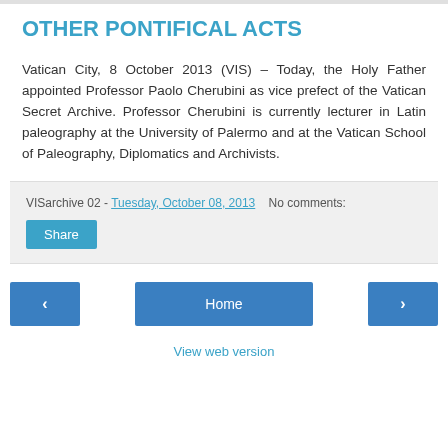OTHER PONTIFICAL ACTS
Vatican City, 8 October 2013 (VIS) – Today, the Holy Father appointed Professor Paolo Cherubini as vice prefect of the Vatican Secret Archive. Professor Cherubini is currently lecturer in Latin paleography at the University of Palermo and at the Vatican School of Paleography, Diplomatics and Archivists.
VISarchive 02 - Tuesday, October 08, 2013   No comments:
Share
Home
View web version